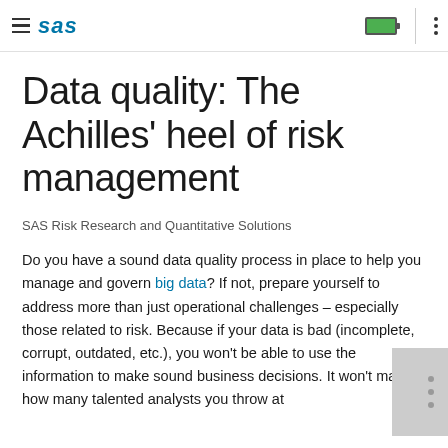SAS (logo)
Data quality: The Achilles' heel of risk management
SAS Risk Research and Quantitative Solutions
Do you have a sound data quality process in place to help you manage and govern big data? If not, prepare yourself to address more than just operational challenges – especially those related to risk. Because if your data is bad (incomplete, corrupt, outdated, etc.), you won't be able to use the information to make sound business decisions. It won't matter how many talented analysts you throw at